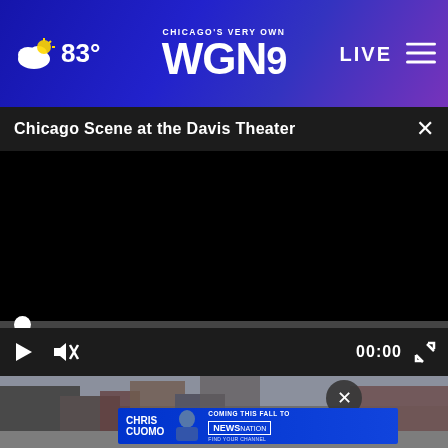[Figure (screenshot): WGN9 Chicago's Very Own news website navigation bar with weather showing partly cloudy and 83°, WGN9 logo in center, LIVE button and hamburger menu on right, purple/blue gradient background]
Chicago Scene at the Davis Theater
[Figure (screenshot): Video player showing black screen (paused/loading video), with progress bar at bottom showing dot at start position, play button, mute button, time 00:00, and fullscreen button on dark controls bar]
[Figure (photo): Street scene photo below video player, partially visible, showing buildings and sidewalk]
[Figure (screenshot): Advertisement banner for Chris Cuomo Coming This Fall to NewsNation, with photo of Chris Cuomo in blue suit, blue gradient background, Find Your Channel text]